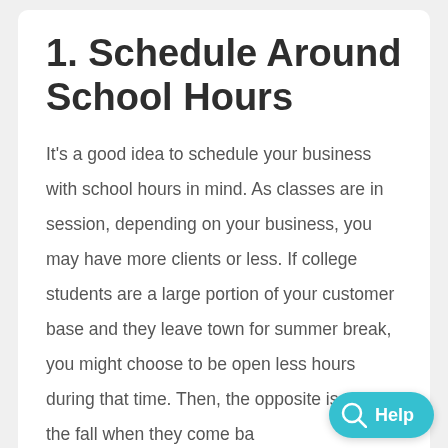1. Schedule Around School Hours
It's a good idea to schedule your business with school hours in mind. As classes are in session, depending on your business, you may have more clients or less. If college students are a large portion of your customer base and they leave town for summer break, you might choose to be open less hours during that time. Then, the opposite is true for the fall when they come ba